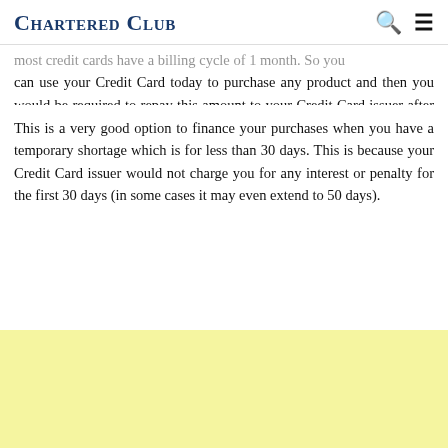Chartered Club
most credit cards have a billing cycle of 1 month. So you can use your Credit Card today to purchase any product and then you would be required to repay this amount to your Credit Card issuer after 30 days.
This is a very good option to finance your purchases when you have a temporary shortage which is for less than 30 days. This is because your Credit Card issuer would not charge you for any interest or penalty for the first 30 days (in some cases it may even extend to 50 days).
[Figure (other): Yellow/light yellow advertisement or banner block at the bottom of the page]